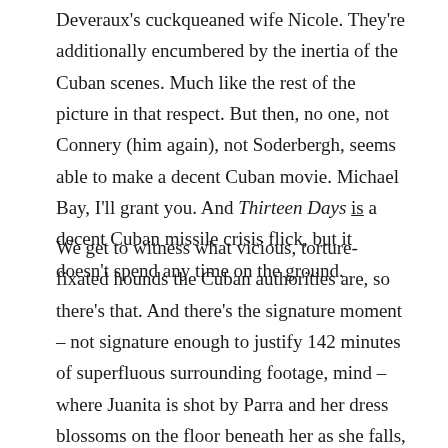Deveraux's cuckqueaned wife Nicole. They're additionally encumbered by the inertia of the Cuban scenes. Much like the rest of the picture in that respect. But then, no one, not Connery (him again), not Soderbergh, seems able to make a decent Cuban movie. Michael Bay, I'll grant you. And Thirteen Days is a decent Cuban missile crisis flick, but it doesn't spend any time on the ground.
We get to witness what vicious, torture-fixated hounds the Cuban authorities are, so there's that. And there's the signature moment – not signature enough to justify 142 minutes of superfluous surrounding footage, mind – where Juanita is shot by Parra and her dress blossoms on the floor beneath her as she falls, like a pool of blood. But the best sequence relating to Cuban events occurs before we go there, as Deveraux employs the services of coolly